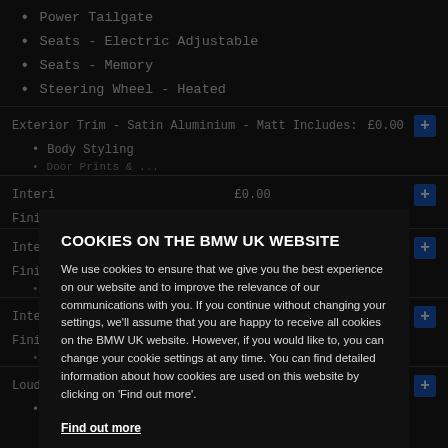Power Tailgate
Seats - Electric Adjustable
Seats - Memory
Steering Wheel - Heated
Exterior Trim - Satin Aluminium - Matt Includes: £0.00
Body Styling
Interior ... £0.00
Finisher Includes:
Interior ... £0.00
Finisher Includes:
Interior ... Gloss Black with Pearl Chrome Finisher Includes: £0.00
Loudspeaker System - Harman Kardon Includes: £500.00
Audio & Communication
COOKIES ON THE BMW UK WEBSITE
We use cookies to ensure that we give you the best experience on our website and to improve the relevance of our communications with you. If you continue without changing your settings, we'll assume that you are happy to receive all cookies on the BMW UK website. However, if you would like to, you can change your cookie settings at any time. You can find detailed information about how cookies are used on this website by clicking on 'Find out more'.
Find out more
OK